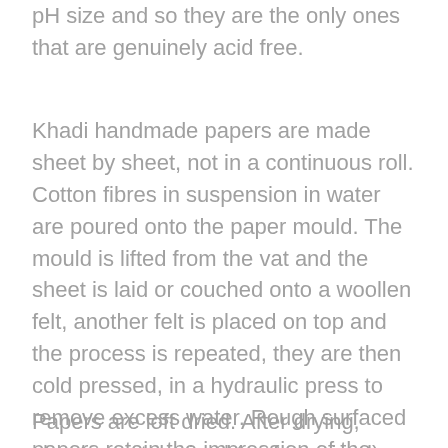pH size and so they are the only ones that are genuinely acid free.
Khadi handmade papers are made sheet by sheet, not in a continuous roll. Cotton fibres in suspension in water are poured onto the paper mould. The mould is lifted from the vat and the sheet is laid or couched onto a woollen felt, another felt is placed on top and the process is repeated, they are then cold pressed, in a hydraulic press to remove excess water. Rough surfaced papers retain the impression of the woollen felt. Smooth papers are cold pressed between zinc sheets.
Papers are loft dried. After drying, sheets are tub sized (surface sized) with gelatine which produces